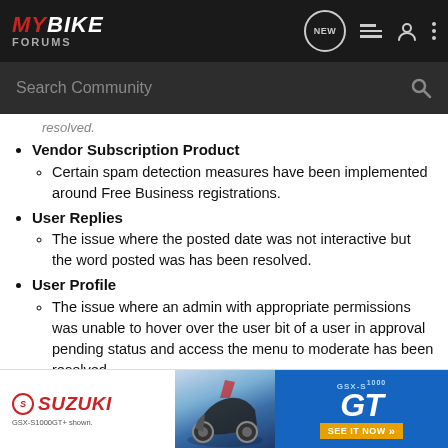MY BIKE FORUMS
Vendor Subscription Product — Certain spam detection measures have been implemented around Free Business registrations.
User Replies — The issue where the posted date was not interactive but the word posted was has been resolved.
User Profile — The issue where an admin with appropriate permissions was unable to hover over the user bit of a user in approval pending status and access the menu to moderate has been resolved.
[Figure (illustration): Suzuki GSX-S1000GT advertisement banner with motorcycle image and 'SEE IT NOW' call to action]